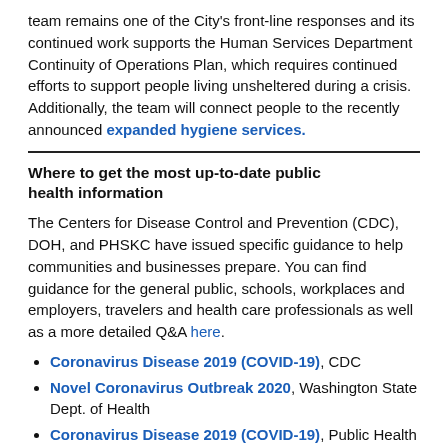team remains one of the City's front-line responses and its continued work supports the Human Services Department Continuity of Operations Plan, which requires continued efforts to support people living unsheltered during a crisis. Additionally, the team will connect people to the recently announced expanded hygiene services.
Where to get the most up-to-date public health information
The Centers for Disease Control and Prevention (CDC), DOH, and PHSKC have issued specific guidance to help communities and businesses prepare. You can find guidance for the general public, schools, workplaces and employers, travelers and health care professionals as well as a more detailed Q&A here.
Coronavirus Disease 2019 (COVID-19), CDC
Novel Coronavirus Outbreak 2020, Washington State Dept. of Health
Coronavirus Disease 2019 (COVID-19), Public Health – Seattle & King County